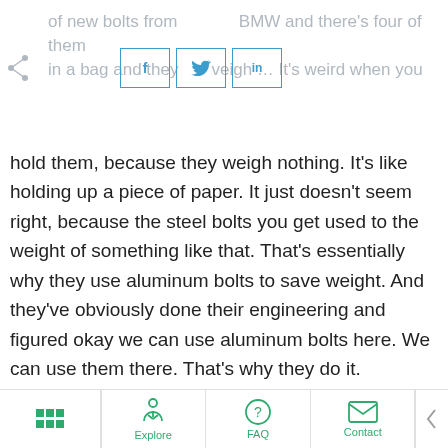of new bolts from BMW and there's four of them in a bag and they weigh … It's weird when you hold them, because they weigh nothing. It's like holding up a piece of paper. It just doesn't seem right, because the steel bolts you get used to the weight of something like that. That's essentially why they use aluminum bolts to save weight. And they've obviously done their engineering and figured okay we can use aluminum bolts here. We can use them there. That's why they do it.
Mark: Are aluminum bolts reusable?
Explore  FAQ  Contact